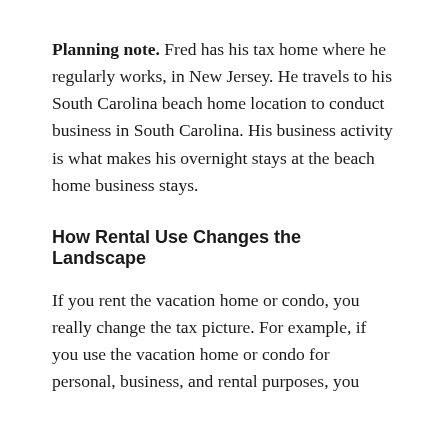Planning note. Fred has his tax home where he regularly works, in New Jersey. He travels to his South Carolina beach home location to conduct business in South Carolina. His business activity is what makes his overnight stays at the beach home business stays.
How Rental Use Changes the Landscape
If you rent the vacation home or condo, you really change the tax picture. For example, if you use the vacation home or condo for personal, business, and rental purposes, you